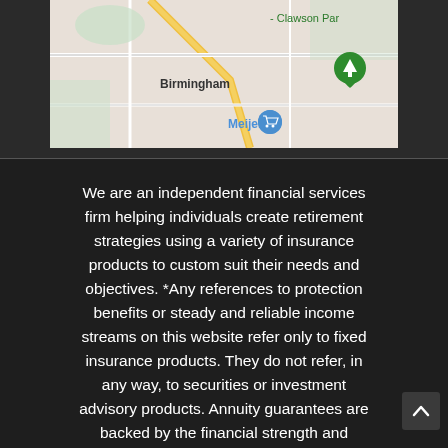[Figure (map): Partial Google Maps view showing Birmingham and Clawson Park area with Meijer store marked]
We are an independent financial services firm helping individuals create retirement strategies using a variety of insurance products to custom suit their needs and objectives. *Any references to protection benefits or steady and reliable income streams on this website refer only to fixed insurance products. They do not refer, in any way, to securities or investment advisory products. Annuity guarantees are backed by the financial strength and claims-paying ability of the issuing insurance company. Annuities are insurance products that may be